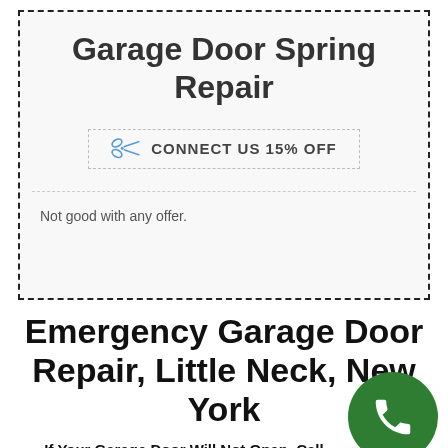Garage Door Spring Repair
[Figure (other): Coupon code box with scissors icon and text: CONNECT US 15% OFF]
Not good with any offer.
Emergency Garage Door Repair, Little Neck, New York
If Your Garage Door Will Not Open, Call Garage Door Us So We Can Fix Your Garage Doo...
All of our garage door repair affordable specialists are fully trained to keep your garage door and garage door opener...
[Figure (other): Green circular phone call button icon]